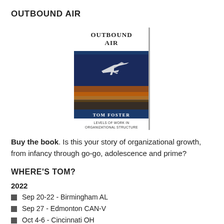OUTBOUND AIR
[Figure (illustration): Book cover for 'Outbound Air' by Tom Foster showing an airplane flying against a dramatic sky, with subtitle 'Levels of Work in Organizational Structure']
Buy the book. Is this your story of organizational growth, from infancy through go-go, adolescence and prime?
WHERE'S TOM?
2022
Sep 20-22 - Birmingham AL
Sep 27 - Edmonton CAN-V
Oct 4-6 - Cincinnati OH
Oct 26-27 - Milwaukee WI
Nov 1-4 - Dallas TX